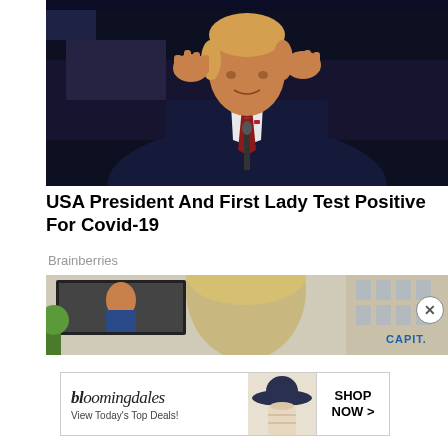[Figure (photo): A man in a dark suit with a striped tie gesturing with both hands raised, speaking at a podium with a microphone, against a dark background.]
USA President And First Lady Test Positive For Covid-19
Brainberries
[Figure (photo): A person with blonde hair photographed outdoors near a large billboard and building facade. A 'CAPIT.' sign (Capital One) is partially visible on the right.]
[Figure (infographic): Bloomingdale's advertisement. Text reads: bloomingdales, View Today's Top Deals! SHOP NOW >]